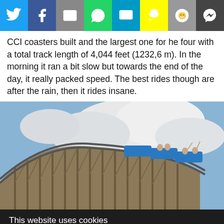[Figure (screenshot): Social media sharing bar with icons for Twitter, Facebook, Email, WhatsApp, SMS, Snapchat, Reddit, and Messenger]
CCI coasters built and the largest one for he four with a total track length of 4,044 feet (1232,6 m). In the morning it ran a bit slow but towards the end of the day, it really packed speed. The best rides though are after the rain, then it rides insane.
[Figure (photo): Photograph of a wooden roller coaster with blue cars going over a curved hill, blue sky and clouds in background]
This website uses cookies
OKAY    MORE INFO